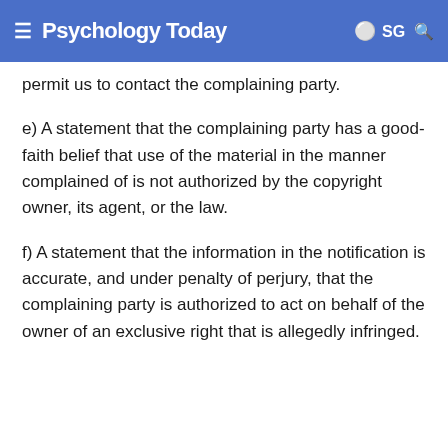Psychology Today  SG
permit us to contact the complaining party.
e) A statement that the complaining party has a good-faith belief that use of the material in the manner complained of is not authorized by the copyright owner, its agent, or the law.
f) A statement that the information in the notification is accurate, and under penalty of perjury, that the complaining party is authorized to act on behalf of the owner of an exclusive right that is allegedly infringed.